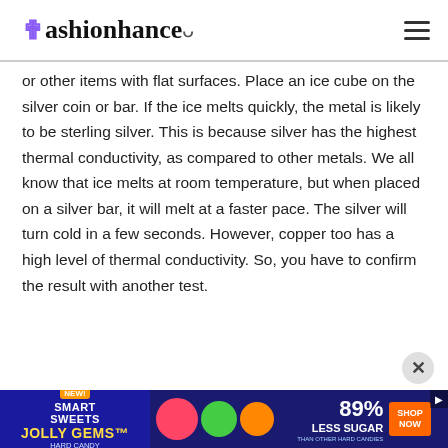Fashionhance
or other items with flat surfaces. Place an ice cube on the silver coin or bar. If the ice melts quickly, the metal is likely to be sterling silver. This is because silver has the highest thermal conductivity, as compared to other metals. We all know that ice melts at room temperature, but when placed on a silver bar, it will melt at a faster pace. The silver will turn cold in a few seconds. However, copper too has a high level of thermal conductivity. So, you have to confirm the result with another test.
Magnet Test
[Figure (infographic): Advertisement banner for Smart Sweets Jolly Gems Hard Candy claiming 89% Less Sugar than other hard candies]